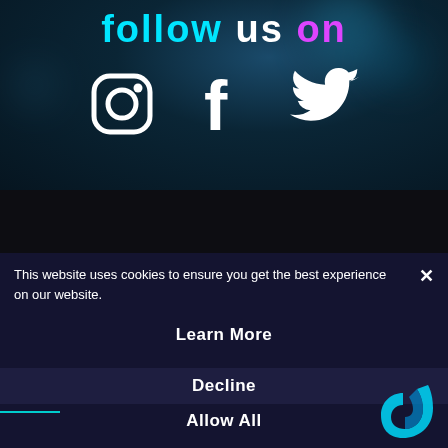follow us on
[Figure (illustration): Social media icons: Instagram, Facebook, Twitter (white icons on dark background)]
[Figure (illustration): Upward chevron arrow with purple gradient and text TOP, back-to-top button]
This website uses cookies to ensure you get the best experience on our website.
Learn More
Decline
Allow All